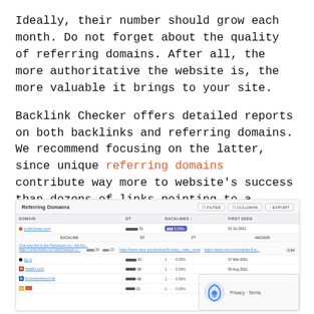Ideally, their number should grow each month. Do not forget about the quality of referring domains. After all, the more authoritative the website is, the more valuable it brings to your site.
Backlink Checker offers detailed reports on both backlinks and referring domains. We recommend focusing on the latter, since unique referring domains contribute way more to website's success than dozens of links pointing to a website from one and the same domain.
[Figure (screenshot): Screenshot of a Referring Domains report table showing domain entries like orderchata.com, bp.io, reppin.com, browserizewonda, and another domain. Columns include domain, DT, backlinks, first seen. Filter, Columns, and Export buttons are visible. A reCAPTCHA overlay appears at bottom right.]